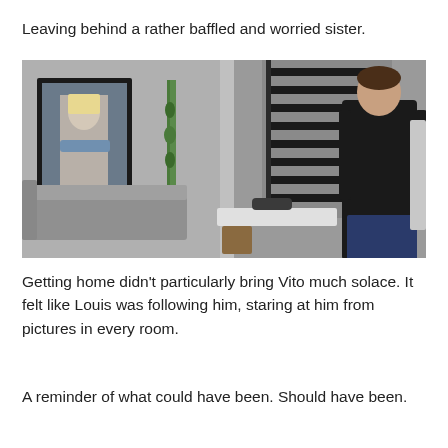Leaving behind a rather baffled and worried sister.
[Figure (screenshot): A screenshot from The Sims video game showing a character in a modern home interior. A man in a black long-sleeve shirt and blue jeans stands near a staircase. On the wall to the left is a framed portrait of a character with blonde hair and crossed arms. There is a bamboo plant, a grey sofa, and a white coffee table in the room.]
Getting home didn’t particularly bring Vito much solace. It felt like Louis was following him, staring at him from pictures in every room.
A reminder of what could have been. Should have been.